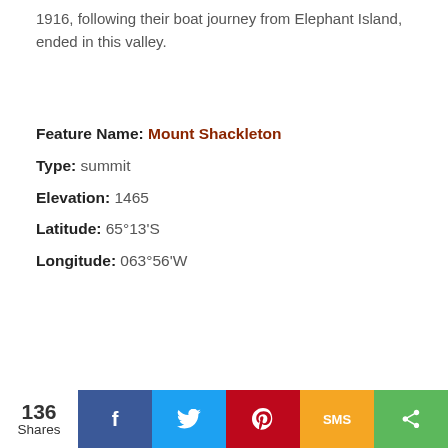1916, following their boat journey from Elephant Island, ended in this valley.
Feature Name: Mount Shackleton
Type: summit
Elevation: 1465
Latitude: 65°13'S
Longitude: 063°56'W
cliffs
ween
n
cot.
We and our partners use cookies on this site to analyze our traffic and personalize ad content. By continuing to use this site we will assume that you are happy with this. Learn more
Got it!
136
Shares